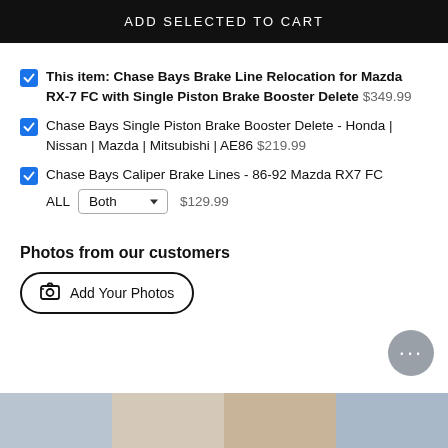ADD SELECTED TO CART
This item: Chase Bays Brake Line Relocation for Mazda RX-7 FC with Single Piston Brake Booster Delete  $349.99
Chase Bays Single Piston Brake Booster Delete - Honda | Nissan | Mazda | Mitsubishi | AE86  $219.99
Chase Bays Caliper Brake Lines - 86-92 Mazda RX7 FC ALL  Both  $129.99
Photos from our customers
Add Your Photos